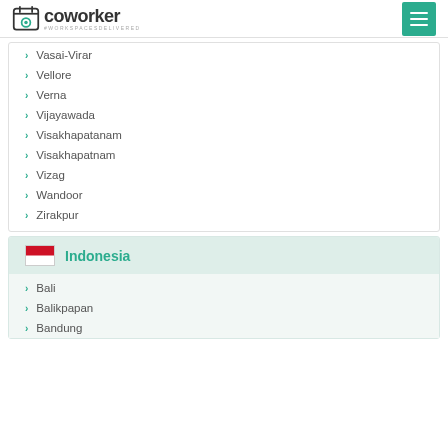coworker #WORKSPACESDELIVERED
Vasai-Virar
Vellore
Verna
Vijayawada
Visakhapatanam
Visakhapatnam
Vizag
Wandoor
Zirakpur
Indonesia
Bali
Balikpapan
Bandung